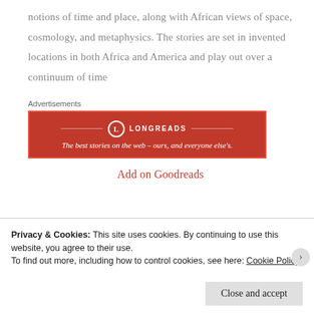notions of time and place, along with African views of space, cosmology, and metaphysics. The stories are set in invented locations in both Africa and America and play out over a continuum of time
Advertisements
[Figure (other): Longreads advertisement banner: red background with logo and tagline 'The best stories on the web – ours, and everyone else's.']
Add on Goodreads
Privacy & Cookies: This site uses cookies. By continuing to use this website, you agree to their use.
To find out more, including how to control cookies, see here: Cookie Policy
Close and accept